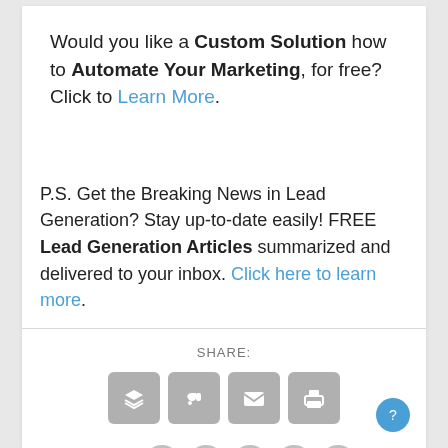Would you like a Custom Solution how to Automate Your Marketing, for free? Click to Learn More.
P.S. Get the Breaking News in Lead Generation? Stay up-to-date easily! FREE Lead Generation Articles summarized and delivered to your inbox. Click here to learn more.
[Figure (infographic): SHARE label with four social sharing icon buttons (layers/buffer, stumbleupon, email, print) in grey rounded squares]
[Figure (infographic): RATE label with five grey star rating icons in circles]